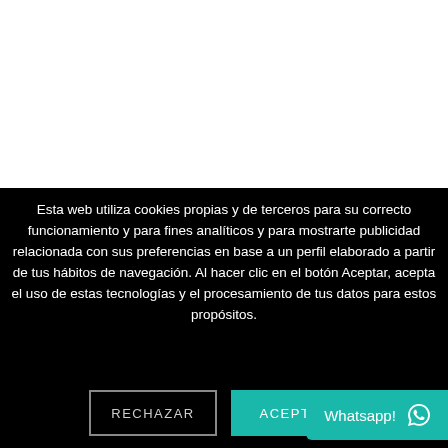[Figure (other): White area at the top of the page, appears to be a webpage content area (blank/white background)]
Esta web utiliza cookies propias y de terceros para su correcto funcionamiento y para fines analíticos y para mostrarte publicidad relacionada con sus preferencias en base a un perfil elaborado a partir de tus hábitos de navegación. Al hacer clic en el botón Aceptar, acepta el uso de estas tecnologías y el procesamiento de tus datos para estos propósitos.
RECHAZAR
ACEPTAR
Whatsapp!